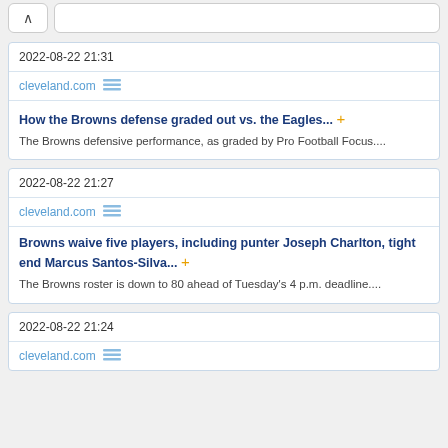2022-08-22 21:31
cleveland.com
How the Browns defense graded out vs. the Eagles... + The Browns defensive performance, as graded by Pro Football Focus....
2022-08-22 21:27
cleveland.com
Browns waive five players, including punter Joseph Charlton, tight end Marcus Santos-Silva... + The Browns roster is down to 80 ahead of Tuesday's 4 p.m. deadline....
2022-08-22 21:24
cleveland.com